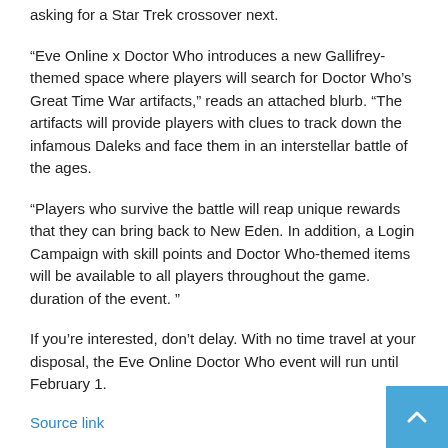asking for a Star Trek crossover next.
“Eve Online x Doctor Who introduces a new Gallifrey-themed space where players will search for Doctor Who’s Great Time War artifacts,” reads an attached blurb. “The artifacts will provide players with clues to track down the infamous Daleks and face them in an interstellar battle of the ages.
“Players who survive the battle will reap unique rewards that they can bring back to New Eden. In addition, a Login Campaign with skill points and Doctor Who-themed items will be available to all players throughout the game. duration of the event. ”
If you’re interested, don’t delay. With no time travel at your disposal, the Eve Online Doctor Who event will run until February 1.
Source link
Related Posts: